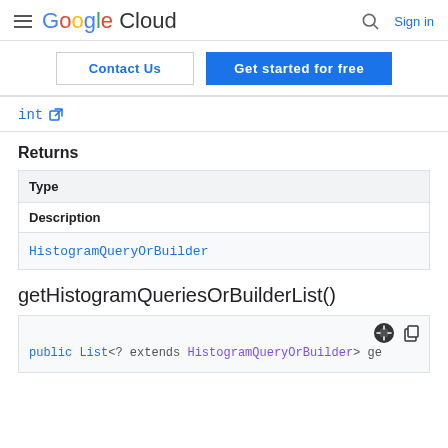Google Cloud — Sign in
Contact Us | Get started for free
int [external link]
Returns
| Type |
| --- |
| Description |
| HistogramQueryOrBuilder |
getHistogramQueriesOrBuilderList()
public List<? extends HistogramQueryOrBuilder> ge